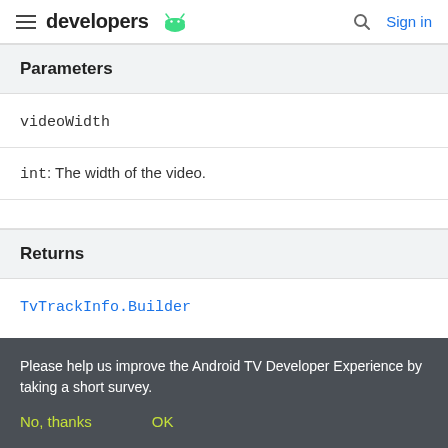developers | Sign in
Parameters
videoWidth
int: The width of the video.
Returns
TvTrackInfo.Builder
Please help us improve the Android TV Developer Experience by taking a short survey.
No, thanks   OK